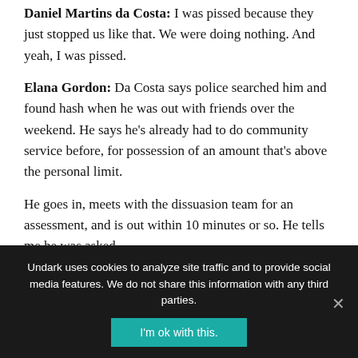Daniel Martins da Costa: I was pissed because they just stopped us like that. We were doing nothing. And yeah, I was pissed.
Elana Gordon: Da Costa says police searched him and found hash when he was out with friends over the weekend. He says he's already had to do community service before, for possession of an amount that's above the personal limit.
He goes in, meets with the dissuasion team for an assessment, and is out within 10 minutes or so. He tells me he was asked.
Undark uses cookies to analyze site traffic and to provide social media features. We do not share this information with any third parties.